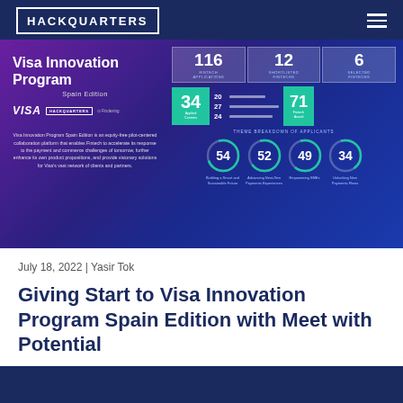HACKQUARTERS
[Figure (infographic): Visa Innovation Program Spain Edition infographic showing statistics: 116 Fintech Applications, 12 Shortlisted Fintechs, 6 Selected Fintechs, 34 Applied Countries, 20/27/24 breakdown rows, 71 Fintech Award, Theme Breakdown of Applicants with circles: 54 Building a Smart and Sustainable Future, 52 Advancing Next-Gen Payments Experiences, 49 Empowering SMEs, 34 Unlocking New Payments Flows]
July 18, 2022  |  Yasir Tok
Giving Start to Visa Innovation Program Spain Edition with Meet with Potential